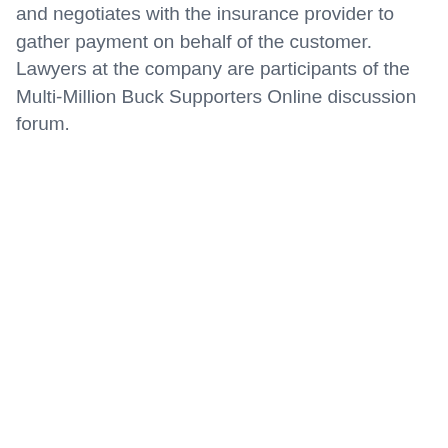and negotiates with the insurance provider to gather payment on behalf of the customer. Lawyers at the company are participants of the Multi-Million Buck Supporters Online discussion forum.